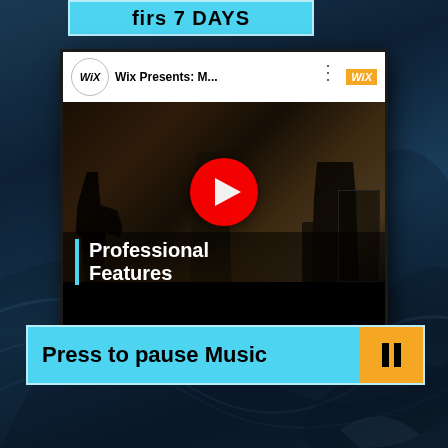[Figure (screenshot): Partial top blue bar showing text 'firs 7 DAYS']
[Figure (screenshot): YouTube embedded video thumbnail for 'Wix Presents: M...' showing band musicians in a room with YouTube play button overlay and text 'Professional Features', Wix logo badge visible]
[Figure (screenshot): Music control bar with cyan background reading 'Press to pause Music' and a yellow pause button (||) on the right]